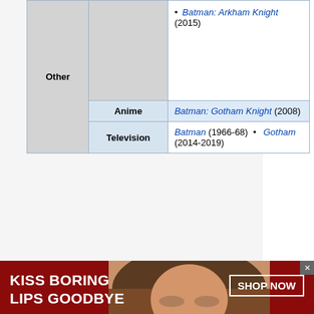|  | Other |  |  |
| --- | --- | --- | --- |
| Other |  | • Batman: Arkham Knight (2015) |  |
|  | Anime | Batman: Gotham Knight (2008) |  |
|  | Television | Batman (1966-68) • Gotham (2014-2019) |  |
Categories: Crime | Detective | Drama | Mystery | Television
[Figure (photo): Outdoor sculpture against sky with trees, crescent/horn-shaped stone sculpture]
[Figure (photo): Advertisement banner: KISS BORING LIPS GOODBYE - Macy's cosmetics ad with model, red background, SHOP NOW button]